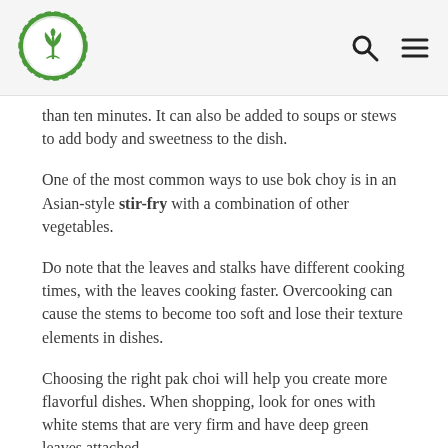Logo and navigation icons (search, menu)
than ten minutes. It can also be added to soups or stews to add body and sweetness to the dish.
One of the most common ways to use bok choy is in an Asian-style stir-fry with a combination of other vegetables.
Do note that the leaves and stalks have different cooking times, with the leaves cooking faster. Overcooking can cause the stems to become too soft and lose their texture elements in dishes.
Choosing the right pak choi will help you create more flavorful dishes. When shopping, look for ones with white stems that are very firm and have deep green leaves attached.
If you pick it up and the leaves are wilted or limp, the